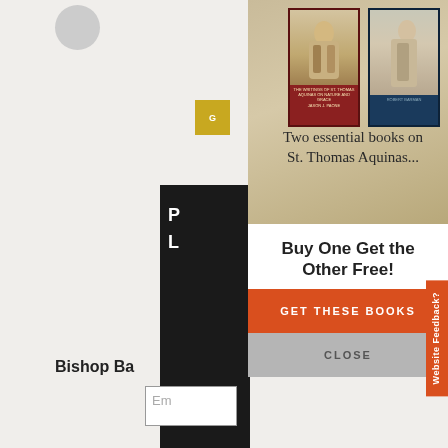[Figure (screenshot): Website screenshot showing a popup modal over a page background. The modal advertises two books on St. Thomas Aquinas with a banner image of book covers, the headline 'Buy One Get the Other Free!', an orange 'GET THESE BOOKS' button, and a gray 'CLOSE' button. A 'Website Feedback?' tab appears on the right edge. Background shows partial page content including a black sidebar, accessibility icon, 'Bishop Ba' text, and an email input field.]
Two essential books on St. Thomas Aquinas...
Buy One Get the Other Free!
GET THESE BOOKS
CLOSE
Website Feedback?
Bishop Ba
Em